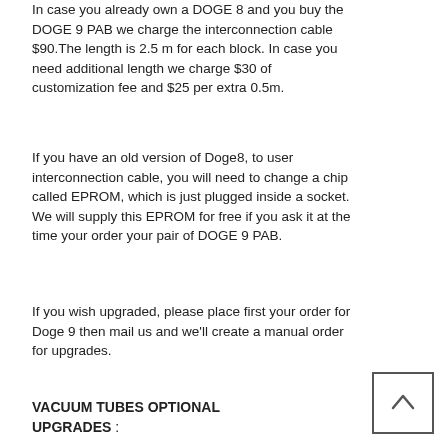In case you already own a DOGE 8 and you buy the DOGE 9 PAB we charge the interconnection cable $90.The length is 2.5 m for each block. In case you need additional length we charge $30 of customization fee and $25 per extra 0.5m.
If you have an old version of Doge8, to user interconnection cable, you will need to change a chip called EPROM, which is just plugged inside a socket. We will supply this EPROM for free if you ask it at the time your order your pair of DOGE 9 PAB.
If you wish upgraded, please place first your order for Doge 9 then mail us and we'll create a manual order for upgrades.
VACUUM TUBES OPTIONAL UPGRADES :